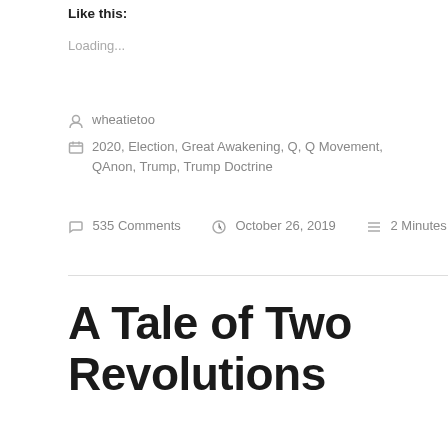Like this:
Loading...
wheatietoo
2020, Election, Great Awakening, Q, Q Movement, QAnon, Trump, Trump Doctrine
535 Comments   October 26, 2019   2 Minutes
A Tale of Two Revolutions